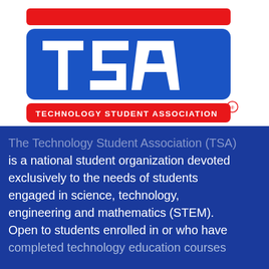[Figure (logo): TSA - Technology Student Association logo. Red bar on top, blue rounded rectangle with white TSA letters, red banner below reading TECHNOLOGY STUDENT ASSOCIATION with registered trademark symbol.]
The Technology Student Association (TSA) is a national student organization devoted exclusively to the needs of students engaged in science, technology, engineering and mathematics (STEM). Open to students enrolled in or who have completed technology education courses...